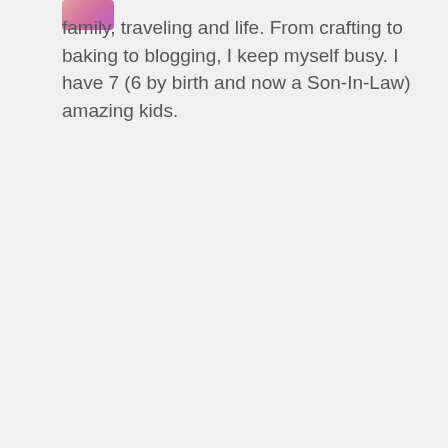[Figure (photo): Small avatar/profile photo thumbnail, partially visible at top left]
family, traveling and life. From crafting to baking to blogging, I keep myself busy. I have 7 (6 by birth and now a Son-In-Law) amazing kids.